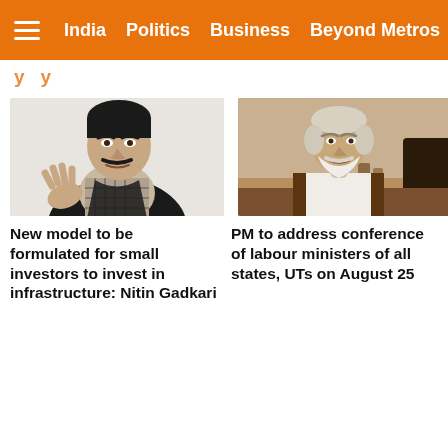India  Politics  Business  Beyond Metros
[Figure (photo): Photo of Nitin Gadkari speaking, gesturing with his hand, wearing a checked shirt and dark vest, against a light background]
New model to be formulated for small investors to invest in infrastructure: Nitin Gadkari
[Figure (photo): Photo of PM Narendra Modi seated, wearing a brown vest, appearing to be in conversation, with furniture visible in background]
PM to address conference of labour ministers of all states, UTs on August 25